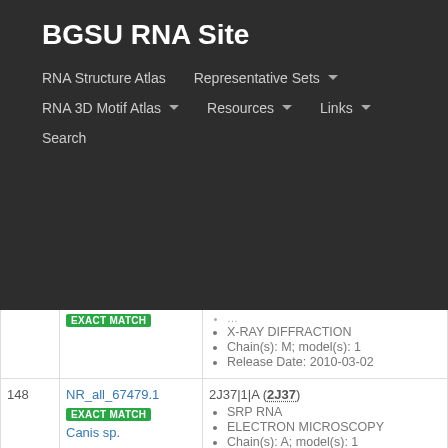BGSU RNA Site
RNA Structure Atlas | Representative Sets ▾ | RNA 3D Motif Atlas ▾ | Resources ▾ | Links ▾ | Search
| # | ID | Details |
| --- | --- | --- |
| 148 | NR_all_67479.1 EXACT MATCH Canis sp. | 2J37|1|A (2J37) • SRP RNA • ELECTRON MICROSCOPY • Chain(s): A; model(s): 1 • Release Date: 2006-11-08 |
| 149 | NR_all_49785.2 EXACT MATCH Homo sapiens | 1MFQ|1|A (1MFQ) • 7S RNA of human SRP, Human gene for • X-RAY DIFFRACTION • Chain(s): A; model(s): 1 • Release Date: 2002-09-20 |